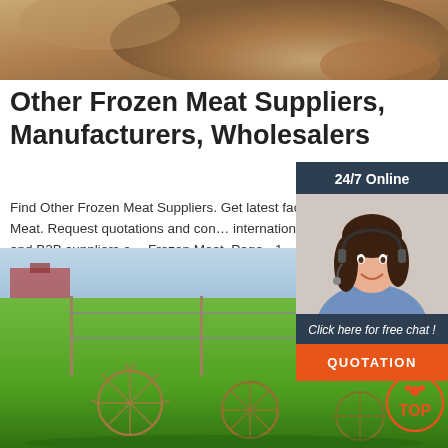[Figure (photo): Top banner image showing sandy/earthy tones, partial crop of agricultural or natural scene]
Other Frozen Meat Suppliers, Manufacturers, Wholesalers
Find Other Frozen Meat Suppliers. Get latest factory price for Other Frozen Meat. Request quotations and connect with international manufacturers and B2B suppliers of Other Frozen Meat. Page - 1
[Figure (other): 24/7 Online chat widget with customer service representative photo, 'Click here for free chat!' text, and QUOTATION button]
[Figure (other): Green button labeled Get Price]
[Figure (photo): Bottom image showing farm field with green grass and agricultural raking/tedding equipment with wheels, with TOP badge in bottom right corner]